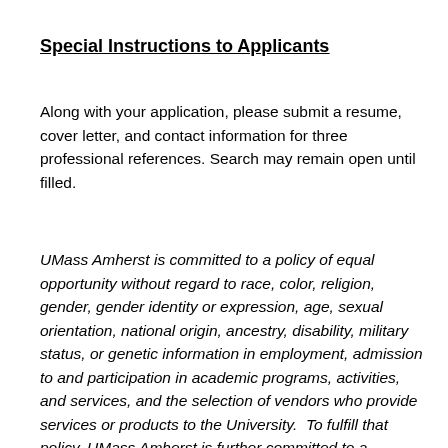Special Instructions to Applicants
Along with your application, please submit a resume, cover letter, and contact information for three professional references. Search may remain open until filled.
UMass Amherst is committed to a policy of equal opportunity without regard to race, color, religion, gender, gender identity or expression, age, sexual orientation, national origin, ancestry, disability, military status, or genetic information in employment, admission to and participation in academic programs, activities, and services, and the selection of vendors who provide services or products to the University.  To fulfill that policy, UMass Amherst is further committed to a program of